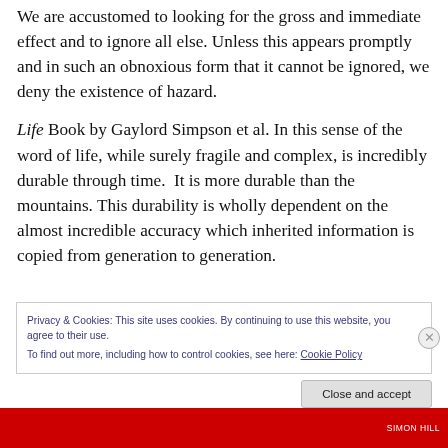We are accustomed to looking for the gross and immediate effect and to ignore all else. Unless this appears promptly and in such an obnoxious form that it cannot be ignored, we deny the existence of hazard.
Life Book by Gaylord Simpson et al. In this sense of the word of life, while surely fragile and complex, is incredibly durable through time.  It is more durable than the mountains. This durability is wholly dependent on the almost incredible accuracy which inherited information is copied from generation to generation.
Privacy & Cookies: This site uses cookies. By continuing to use this website, you agree to their use.
To find out more, including how to control cookies, see here: Cookie Policy